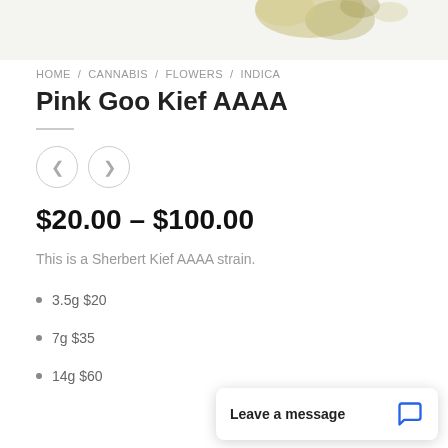[Figure (photo): Partial product image at the top of the page, showing what appears to be cannabis flower product against a light background.]
HOME / CANNABIS / FLOWERS / INDICA
Pink Goo Kief AAAA
$20.00 – $100.00
This is a Sherbert Kief AAAA strain.
3.5g $20
7g $35
14g $60
Leave a message